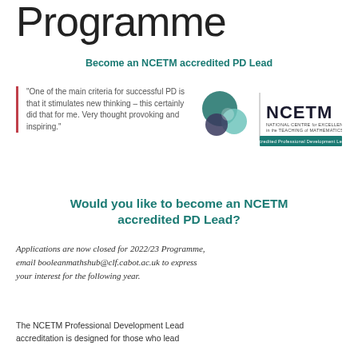Programme
Become an NCETM accredited PD Lead
"One of the main criteria for successful PD is that it stimulates new thinking – this certainly did that for me. Very thought provoking and inspiring."
[Figure (logo): NCETM logo with overlapping teal circles and text: NATIONAL CENTRE for EXCELLENCE in the TEACHING of MATHEMATICS, Accredited Professional Development Lead]
Would you like to become an NCETM accredited PD Lead?
Applications are now closed for 2022/23 Programme, email booleanmathshub@clf.cabot.ac.uk to express your interest for the following year.
The NCETM Professional Development Lead accreditation is designed for those who lead